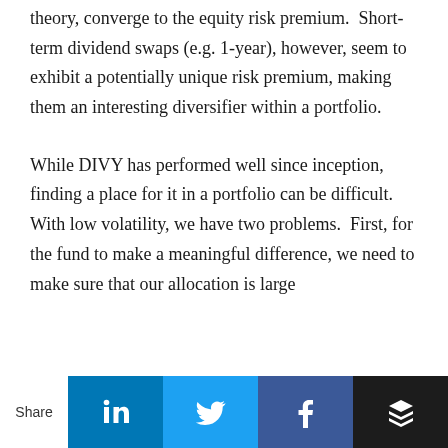theory, converge to the equity risk premium.  Short-term dividend swaps (e.g. 1-year), however, seem to exhibit a potentially unique risk premium, making them an interesting diversifier within a portfolio.
While DIVY has performed well since inception, finding a place for it in a portfolio can be difficult.  With low volatility, we have two problems.  First, for the fund to make a meaningful difference, we need to make sure that our allocation is large
[Figure (infographic): Social media share bar at the bottom of the page with Share label, LinkedIn, Twitter, Facebook, and Buffer icons]